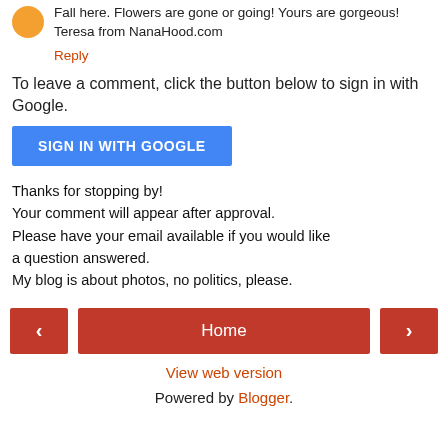Fall here. Flowers are gone or going! Yours are gorgeous!
Teresa from NanaHood.com
Reply
To leave a comment, click the button below to sign in with Google.
[Figure (other): Blue 'SIGN IN WITH GOOGLE' button]
Thanks for stopping by!
Your comment will appear after approval.
Please have your email available if you would like a question answered.
My blog is about photos, no politics, please.
[Figure (other): Navigation bar with left arrow button, Home button, and right arrow button]
View web version
Powered by Blogger.